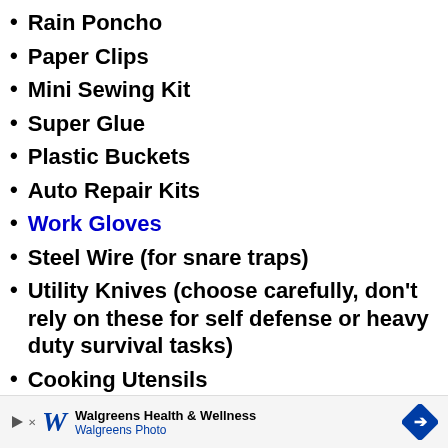Rain Poncho
Paper Clips
Mini Sewing Kit
Super Glue
Plastic Buckets
Auto Repair Kits
Work Gloves
Steel Wire (for snare traps)
Utility Knives (choose carefully, don’t rely on these for self defense or heavy duty survival tasks)
Cooking Utensils
Can Openers
Zip Lock Bags
Plastic Storage Containers
Glass Jars for storing medicinal
[Figure (other): Walgreens Health & Wellness / Walgreens Photo advertisement banner with Walgreens logo, play button, close button, and blue diamond arrow icon]